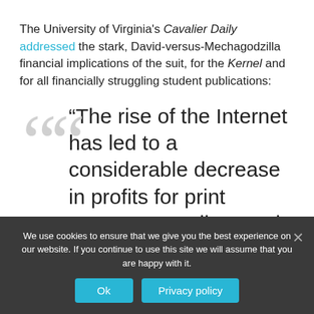The University of Virginia's Cavalier Daily addressed the stark, David-versus-Mechagodzilla financial implications of the suit, for the Kernel and for all financially struggling student publications:
“The rise of the Internet has led to a considerable decrease in profits for print newspapers all around the world, and student newspapers often
We use cookies to ensure that we give you the best experience on our website. If you continue to use this site we will assume that you are happy with it.